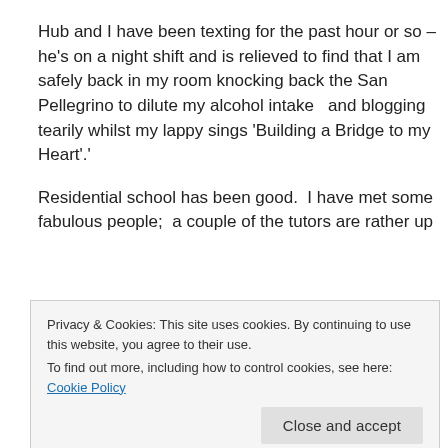Hub and I have been texting for the past hour or so – he's on a night shift and is relieved to find that I am safely back in my room knocking back the San Pellegrino to dilute my alcohol intake  and blogging tearily whilst my lappy sings 'Building a Bridge to my Heart'.
Residential school has been good.  I have met some fabulous people;  a couple of the tutors are rather up
Privacy & Cookies: This site uses cookies. By continuing to use this website, you agree to their use.
To find out more, including how to control cookies, see here: Cookie Policy
great time working on the project together and our tutor,